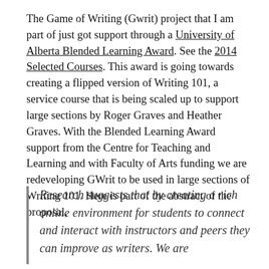The Game of Writing (Gwrit) project that I am part of just got support through a University of Alberta Blended Learning Award. See the 2014 Selected Courses. This award is going towards creating a flipped version of Writing 101, a service course that is being scaled up to support large sections by Roger Graves and Heather Graves. With the Blended Learning Award support from the Centre for Teaching and Learning and with Faculty of Arts funding we are redeveloping GWrit to be used in large sections of Writing 101. Here is part of the abstract of the proposal,
Research suggests that by creating a rich online environment for students to connect and interact with instructors and peers they can improve as writers. We are